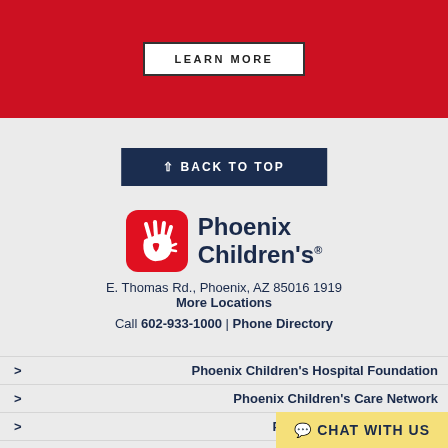LEARN MORE
^ BACK TO TOP
[Figure (logo): Phoenix Children's logo: red rounded square with white hand and heart icon, beside bold dark navy text reading Phoenix Children's]
E. Thomas Rd., Phoenix, AZ 85016 1919
More Locations
Call 602-933-1000 | Phone Directory
Phoenix Children's Hospital Foundation
Phoenix Children's Care Network
Phoenix Childr...
Phoenix Children's Bo...
CHAT WITH US